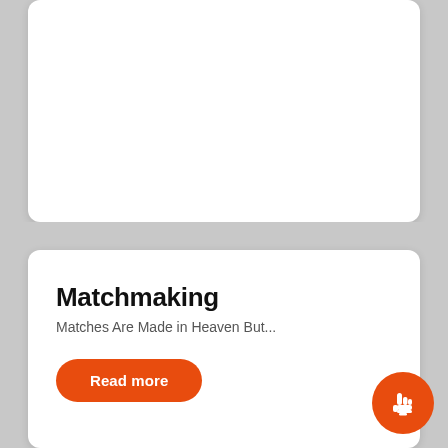[Figure (screenshot): Top white card panel (blank content area)]
Matchmaking
Matches Are Made in Heaven But...
Read more
[Figure (illustration): Orange circular FAB button with a white hand/pointer icon]